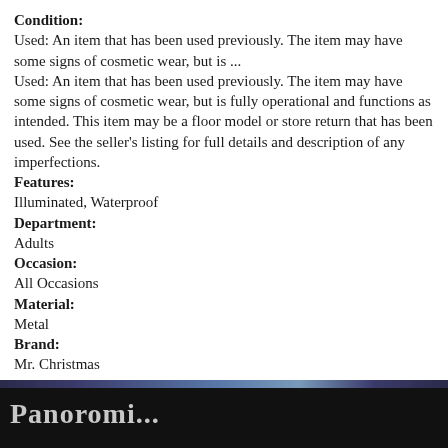Condition:
Used: An item that has been used previously. The item may have some signs of cosmetic wear, but is ...
Used: An item that has been used previously. The item may have some signs of cosmetic wear, but is fully operational and functions as intended. This item may be a floor model or store return that has been used. See the seller's listing for full details and description of any imperfections.
Features:
Illuminated, Waterproof
Department:
Adults
Occasion:
All Occasions
Material:
Metal
Brand:
Mr. Christmas
Color:
Black
Type:
projector
[Figure (photo): Bottom portion of a product box showing partial text starting with 'Panoromi...' in white/light lettering on a dark background, with a decorative colored band at the top of the image.]